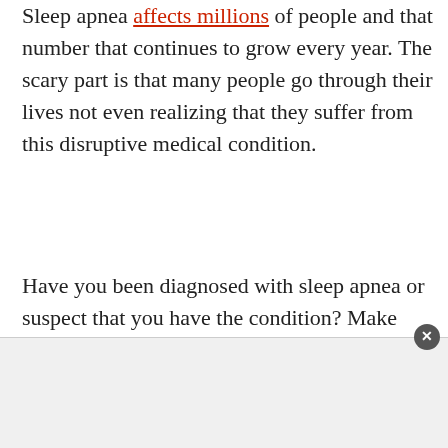Sleep apnea affects millions of people and that number that continues to grow every year. The scary part is that many people go through their lives not even realizing that they suffer from this disruptive medical condition.
Have you been diagnosed with sleep apnea or suspect that you have the condition? Make sure to speak to your doctor, but there are several things to try at home to give you the sleep relief you need in the meantime.
Keep reading to learn more about how to deal with
[Figure (other): Advertisement bar at the bottom of the page with a close (x) button in the top-right corner]